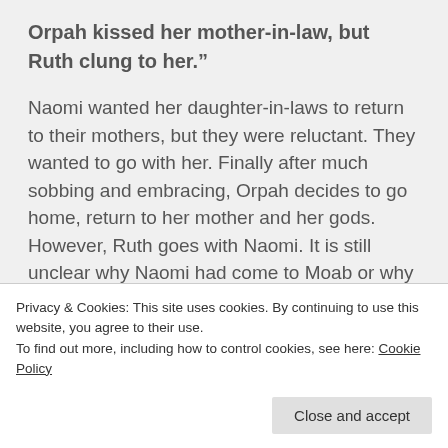Orpah kissed her mother-in-law, but Ruth clung to her.”
Naomi wanted her daughter-in-laws to return to their mothers, but they were reluctant. They wanted to go with her. Finally after much sobbing and embracing, Orpah decides to go home, return to her mother and her gods. However, Ruth goes with Naomi. It is still unclear why Naomi had come to Moab or why Ruth feels such an attachment to
Privacy & Cookies: This site uses cookies. By continuing to use this website, you agree to their use.
To find out more, including how to control cookies, see here: Cookie Policy
Close and accept